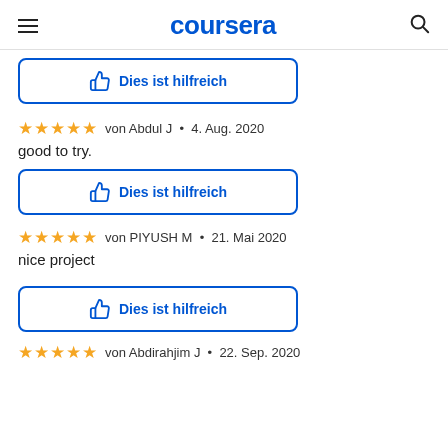coursera
Dies ist hilfreich
von Abdul J • 4. Aug. 2020
good to try.
Dies ist hilfreich
von PIYUSH M • 21. Mai 2020
nice project
Dies ist hilfreich
von Abdirahjim J • 22. Sep. 2020